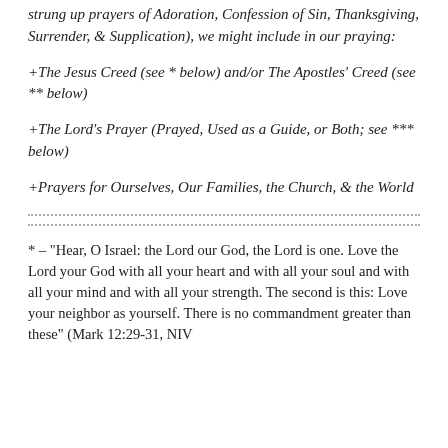strung up prayers of Adoration, Confession of Sin, Thanksgiving, Surrender, & Supplication), we might include in our praying:
+The Jesus Creed (see * below) and/or The Apostles' Creed (see ** below)
+The Lord's Prayer (Prayed, Used as a Guide, or Both; see *** below)
+Prayers for Ourselves, Our Families, the Church, & the World
* – "Hear, O Israel: the Lord our God, the Lord is one. Love the Lord your God with all your heart and with all your soul and with all your mind and with all your strength. The second is this: Love your neighbor as yourself. There is no commandment greater than these" (Mark 12:29-31, NIV